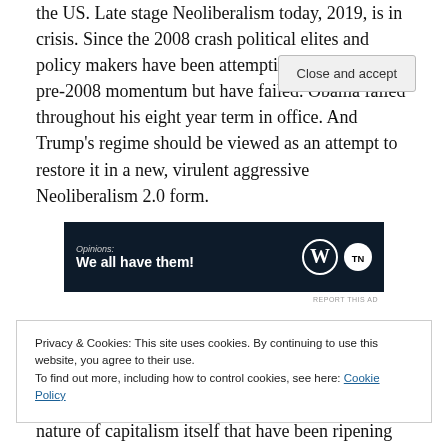the US. Late stage Neoliberalism today, 2019, is in crisis. Since the 2008 crash political elites and policy makers have been attempting to restore its pre-2008 momentum but have failed. Obama failed throughout his eight year term in office. And Trump's regime should be viewed as an attempt to restore it in a new, virulent aggressive Neoliberalism 2.0 form.
[Figure (other): Advertisement banner with dark navy background showing text 'Opinions: We all have them!' with WordPress and The New Wave logos on the right]
REPORT THIS AD
Privacy & Cookies: This site uses cookies. By continuing to use this website, you agree to their use.
To find out more, including how to control cookies, see here: Cookie Policy
Close and accept
nature of capitalism itself that have been ripening and